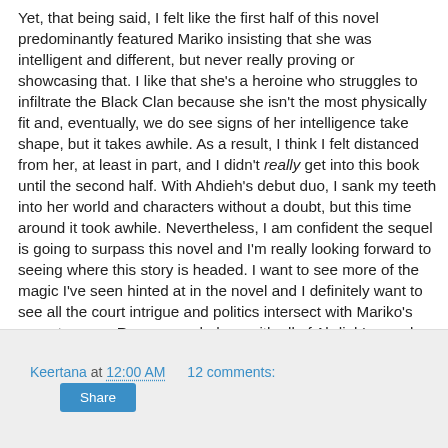Yet, that being said, I felt like the first half of this novel predominantly featured Mariko insisting that she was intelligent and different, but never really proving or showcasing that. I like that she's a heroine who struggles to infiltrate the Black Clan because she isn't the most physically fit and, eventually, we do see signs of her intelligence take shape, but it takes awhile. As a result, I think I felt distanced from her, at least in part, and I didn't really get into this book until the second half. With Ahdieh's debut duo, I sank my teeth into her world and characters without a doubt, but this time around it took awhile. Nevertheless, I am confident the sequel is going to surpass this novel and I'm really looking forward to seeing where this story is headed. I want to see more of the magic I've seen hinted at in the novel and I definitely want to see all the court intrigue and politics intersect with Mariko's own story arc. Recommended, as with all of Ahdieh's novels.
Keertana at 12:00 AM   12 comments:
Share